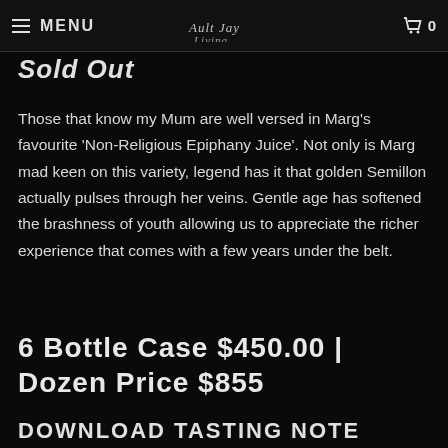MENU | [logo] | 0
Sold Out
Those that know my Mum are well versed in Marg's favourite 'Non-Religious Epiphany Juice'. Not only is Marg mad keen on this variety, legend has it that golden Semillon actually pulses through her veins. Gentle age has softened the brashness of youth allowing us to appreciate the richer experience that comes with a few years under the belt.
6 Bottle Case $450.00 | Dozen Price $855
Download Tasting Note